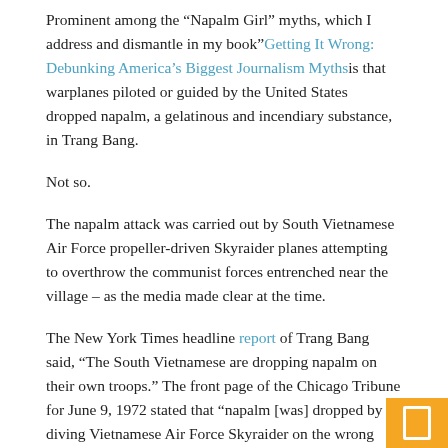Prominent among the “Napalm Girl” myths, which I address and dismantle in my book“Getting It Wrong: Debunking America’s Biggest Journalism Mythsis that warplanes piloted or guided by the United States dropped napalm, a gelatinous and incendiary substance, in Trang Bang.
Not so.
The napalm attack was carried out by South Vietnamese Air Force propeller-driven Skyraider planes attempting to overthrow the communist forces entrenched near the village – as the media made clear at the time.
The New York Times headline report of Trang Bang said, “The South Vietnamese are dropping napalm on their own troops.” The front page of the Chicago Tribune for June 9, 1972 stated that “napalm [was] dropped by a diving Vietnamese Air Force Skyraider on the wrong target. Christopher Wain, a veteran British journalist, wrote in a dispatch for United Press International: “These were South Vietnamese planes dropping napalm on South Vietnamese peasants and troops.”